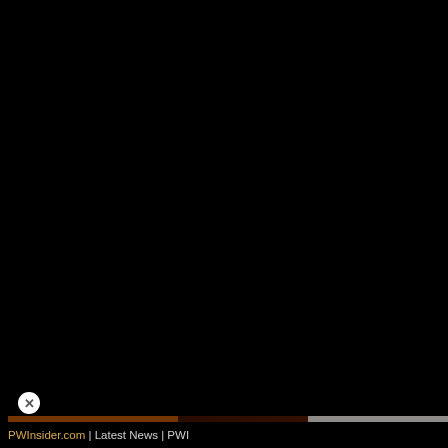[Figure (photo): Video thumbnail showing two wrestlers from AEW (All Elite Wrestling), with a play button overlay, WatchMojo logo, and AEW Wrestling logo.]
esque clothesline for a n
Aksana returns to the sin followed by forearms. Na down. Naomi with a spin near fall. Aksana with a c sends Naomi into the tur Aksana. Naomi with a le
Winner: Naomi
After the match, Cole ye applauds Naomi's victory
We go to credits and rem
If you enjoy PWInsider. which features exclusiv interviews and more by
PWInsider.com | Latest News | PWI...